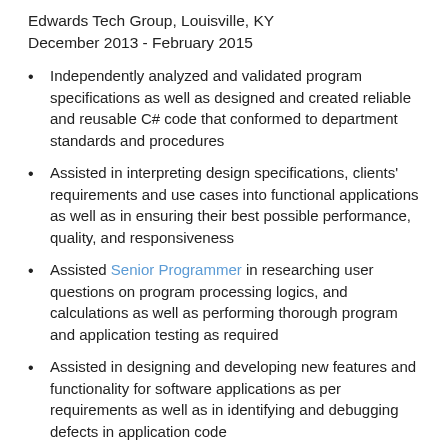Edwards Tech Group, Louisville, KY
December 2013 - February 2015
Independently analyzed and validated program specifications as well as designed and created reliable and reusable C# code that conformed to department standards and procedures
Assisted in interpreting design specifications, clients' requirements and use cases into functional applications as well as in ensuring their best possible performance, quality, and responsiveness
Assisted Senior Programmer in researching user questions on program processing logics, and calculations as well as performing thorough program and application testing as required
Assisted in designing and developing new features and functionality for software applications as per requirements as well as in identifying and debugging defects in application code
Worked with other junior programmers in developing ERP